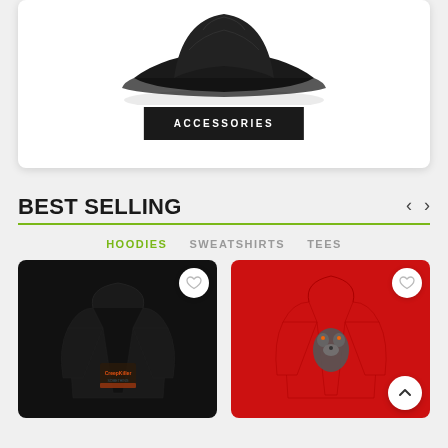[Figure (screenshot): E-commerce page screenshot showing accessories product card at top with black button labeled ACCESSORIES, followed by BEST SELLING section with HOODIES, SWEATSHIRTS, TEES tabs and two hoodie product images (black hoodie and red hoodie)]
ACCESSORIES
BEST SELLING
HOODIES
SWEATSHIRTS
TEES